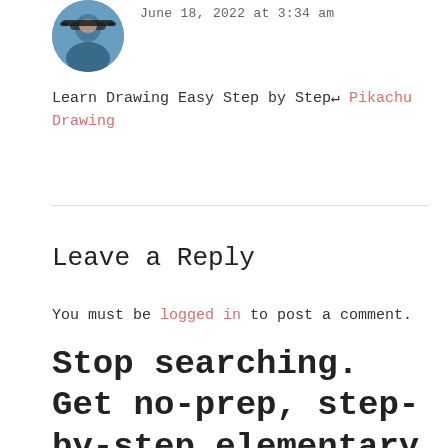[Figure (photo): Circular avatar photo of a person wearing sunglasses, outdoors background]
June 18, 2022 at 3:34 am
Learn Drawing Easy Step by Step↵ Pikachu Drawing
Leave a Reply
You must be logged in to post a comment.
Stop searching. Get no-prep, step-by-step elementary art lessons delivered daily (it's free).